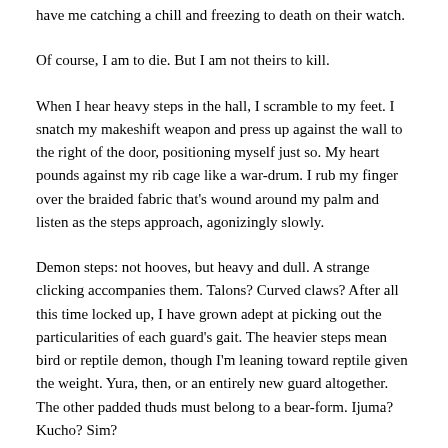have me catching a chill and freezing to death on their watch.
Of course, I am to die. But I am not theirs to kill.
When I hear heavy steps in the hall, I scramble to my feet. I snatch my makeshift weapon and press up against the wall to the right of the door, positioning myself just so. My heart pounds against my rib cage like a war-drum. I rub my finger over the braided fabric that's wound around my palm and listen as the steps approach, agonizingly slowly.
Demon steps: not hooves, but heavy and dull. A strange clicking accompanies them. Talons? Curved claws? After all this time locked up, I have grown adept at picking out the particularities of each guard's gait. The heavier steps mean bird or reptile demon, though I'm leaning toward reptile given the weight. Yura, then, or an entirely new guard altogether. The other padded thuds must belong to a bear-form. Ijuma? Kucho? Sim?